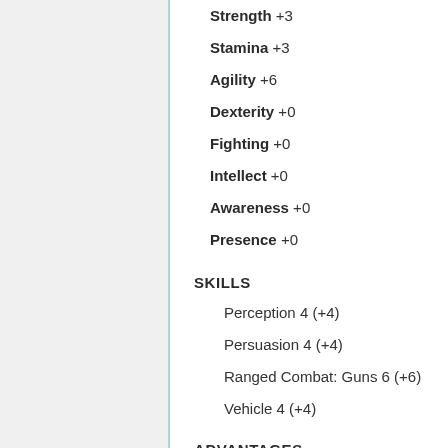Strength +3
Stamina +3
Agility +6
Dexterity +0
Fighting +0
Intellect +0
Awareness +0
Presence +0
SKILLS
Perception 4 (+4)
Persuasion 4 (+4)
Ranged Combat: Guns 6 (+6)
Vehicle 4 (+4)
ADVANTAGES